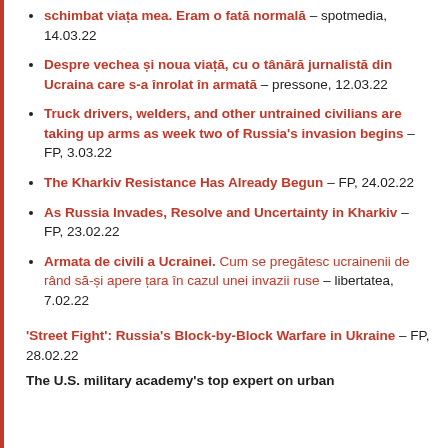schimbat viața mea. Eram o fată normală – spotmedia, 14.03.22
Despre vechea și noua viață, cu o tânără jurnalistă din Ucraina care s-a înrolat în armată – pressone, 12.03.22
Truck drivers, welders, and other untrained civilians are taking up arms as week two of Russia's invasion begins – FP, 3.03.22
The Kharkiv Resistance Has Already Begun – FP, 24.02.22
As Russia Invades, Resolve and Uncertainty in Kharkiv – FP, 23.02.22
Armata de civili a Ucrainei. Cum se pregătesc ucrainenii de rând să-și apere țara în cazul unei invazii ruse – libertatea, 7.02.22
'Street Fight': Russia's Block-by-Block Warfare in Ukraine – FP, 28.02.22
The U.S. military academy's top expert on urban